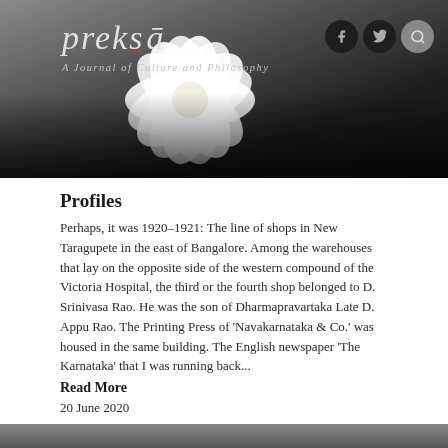[Figure (photo): Website header for Preksā – A Journal of Culture and Philosophy, showing a white lotus flower on a dark background with social media icons (Facebook, Twitter, Search) on the right.]
Profiles
Perhaps, it was 1920–1921: The line of shops in New Taragupete in the east of Bangalore. Among the warehouses that lay on the opposite side of the western compound of the Victoria Hospital, the third or the fourth shop belonged to D. Srinivasa Rao. He was the son of Dharmapravartaka Late D. Appu Rao. The Printing Press of 'Navakarnataka & Co.' was housed in the same building. The English newspaper 'The Karnataka' that I was running back...
Read More
20 June 2020
Introduction to the Kathāmṛta – Part 11 – The evolution of the Bṛhat–kathā